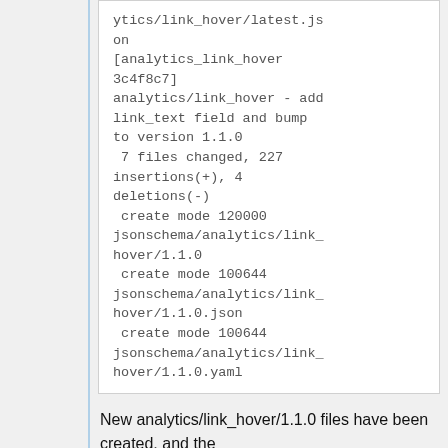ytics/link_hover/latest.json
on
[analytics_link_hover 3c4f8c7]
analytics/link_hover - add link_text field and bump to version 1.1.0
 7 files changed, 227 insertions(+), 4 deletions(-)
 create mode 120000 jsonschema/analytics/link_hover/1.1.0
 create mode 100644 jsonschema/analytics/link_hover/1.1.0.json
 create mode 100644 jsonschema/analytics/link_hover/1.1.0.yaml
New analytics/link_hover/1.1.0 files have been created, and the jsonschema/analytics/link_hover/latest symlinks have been updated to point to